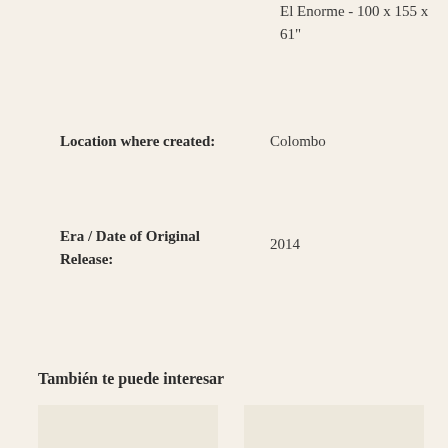El Enorme - 100 x 155 x 61"
Location where created: Colombo
Era / Date of Original Release: 2014
También te puede interesar
[Figure (photo): Placeholder image left]
[Figure (photo): Placeholder image right]